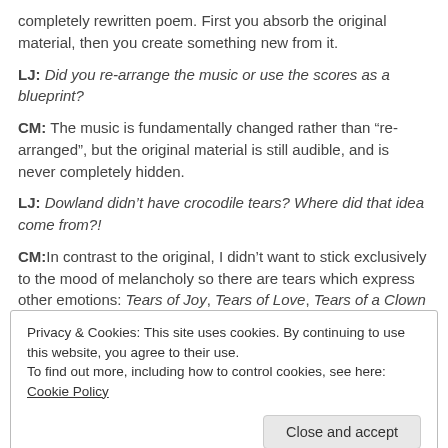completely rewritten poem. First you absorb the original material, then you create something new from it.
LJ: Did you re-arrange the music or use the scores as a blueprint?
CM: The music is fundamentally changed rather than “re-arranged”, but the original material is still audible, and is never completely hidden.
LJ: Dowland didn’t have crocodile tears? Where did that idea come from?!
CM:In contrast to the original, I didn’t want to stick exclusively to the mood of melancholy so there are tears which express other emotions: Tears of Joy, Tears of Love, Tears of a Clown or
Privacy & Cookies: This site uses cookies. By continuing to use this website, you agree to their use.
To find out more, including how to control cookies, see here: Cookie Policy
Close and accept
bring out the polyphony (3) a second harmony instrument